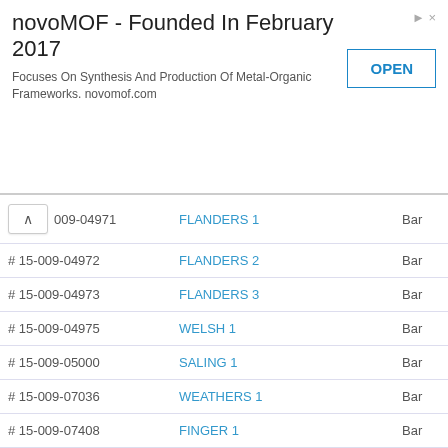[Figure (other): Advertisement banner: novoMOF - Founded In February 2017. Focuses On Synthesis And Production Of Metal-Organic Frameworks. novomof.com. With an OPEN button.]
| # | Name | Bar |
| --- | --- | --- |
| # 15-009-04971 | FLANDERS 1 | Bar |
| # 15-009-04972 | FLANDERS 2 | Bar |
| # 15-009-04973 | FLANDERS 3 | Bar |
| # 15-009-04975 | WELSH 1 | Bar |
| # 15-009-05000 | SALING 1 | Bar |
| # 15-009-07036 | WEATHERS 1 | Bar |
| # 15-009-07408 | FINGER 1 | Bar |
| # 15-009-15313 | KRAFT-PRUSA UNIT or ANDREA 1 2-1 | Bar |
| # 15-009-15331 | MEYERS 2 (A-1) | Bar |
| # 15-009-15273 | KRAFT 8 | Bar |
| # 15-009-03846 | KRAUTWURST 9 | Bar |
| # 15-009-03817 | KRAFT-PRUSA UNIT or ANDREA 3 2-3 | Bar |
| # 15-009-03818 | ANDREA 4 | Bar |